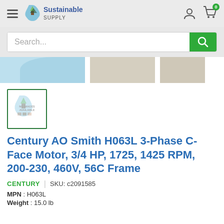Sustainable Supply
[Figure (logo): Sustainable Supply logo with leaf/house icon]
[Figure (screenshot): Search bar with green search button]
[Figure (photo): Product image strip - blue and beige color swatches]
[Figure (photo): No Images Available placeholder thumbnail with green border]
Century AO Smith H063L 3-Phase C-Face Motor, 3/4 HP, 1725, 1425 RPM, 200-230, 460V, 56C Frame
CENTURY | SKU: c2091585
MPN : H063L
Weight : 15.0 lb